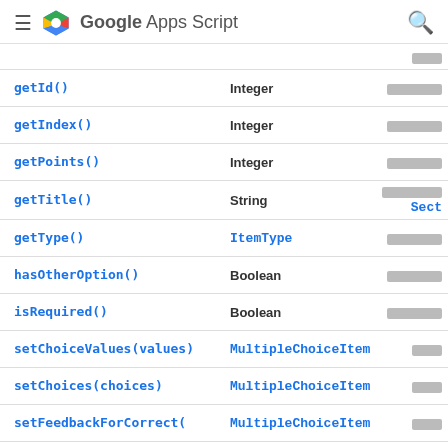Google Apps Script
| Method | Return type | Brief description |
| --- | --- | --- |
| getId() | Integer |  |
| getIndex() | Integer |  |
| getPoints() | Integer |  |
| getTitle() | String |  |
| getType() | ItemType |  |
| hasOtherOption() | Boolean |  |
| isRequired() | Boolean |  |
| setChoiceValues(values) | MultipleChoiceItem |  |
| setChoices(choices) | MultipleChoiceItem |  |
| setFeedbackForCorrect( | MultipleChoiceItem |  |